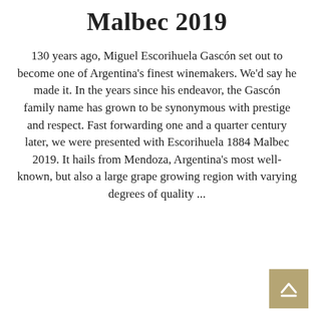Malbec 2019
130 years ago, Miguel Escorihuela Gascón set out to become one of Argentina's finest winemakers. We'd say he made it. In the years since his endeavor, the Gascón family name has grown to be synonymous with prestige and respect. Fast forwarding one and a quarter century later, we were presented with Escorihuela 1884 Malbec 2019. It hails from Mendoza, Argentina's most well-known, but also a large grape growing region with varying degrees of quality ...